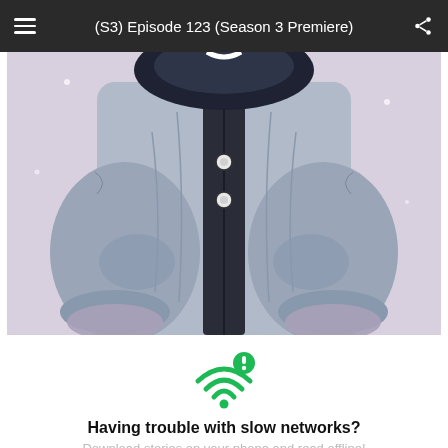(S3) Episode 123 (Season 3 Premiere)
[Figure (illustration): Manga/webtoon illustration showing a character from torso-down wearing a grey puffer jacket with dark inner zipper panel and two buttons, hands raised up near face level; snowy/light background]
[Figure (infographic): Green WiFi symbol with an exclamation mark badge in green circle]
Having trouble with slow networks?
Download stories on your phone and read offline!
Go to the WEBTOON app